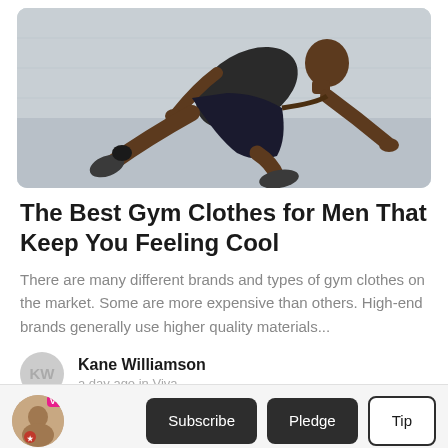[Figure (photo): A muscular man in dark athletic wear doing a mountain climber exercise pose on a light-colored floor near a wall, photographed from a low angle.]
The Best Gym Clothes for Men That Keep You Feeling Cool
There are many different brands and types of gym clothes on the market. Some are more expensive than others. High-end brands generally use higher quality materials...
Kane Williamson
a day ago in Viva
Subscribe   Pledge   Tip